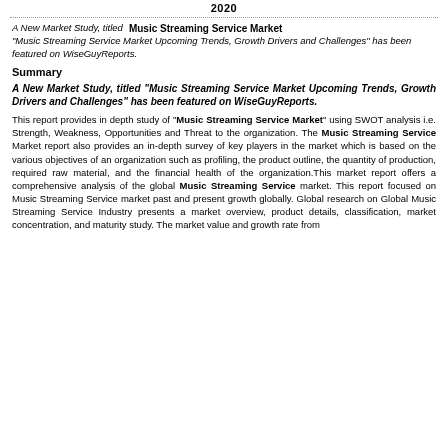2020
A New Market Study, titled Music Streaming Service Market "Music Streaming Service Market Upcoming Trends, Growth Drivers and Challenges" has been featured on WiseGuyReports.
Summary
A New Market Study, titled "Music Streaming Service Market Upcoming Trends, Growth Drivers and Challenges" has been featured on WiseGuyReports.
This report provides in depth study of "Music Streaming Service Market" using SWOT analysis i.e. Strength, Weakness, Opportunities and Threat to the organization. The Music Streaming Service Market report also provides an in-depth survey of key players in the market which is based on the various objectives of an organization such as profiling, the product outline, the quantity of production, required raw material, and the financial health of the organization.This market report offers a comprehensive analysis of the global Music Streaming Service market. This report focused on Music Streaming Service market past and present growth globally. Global research on Global Music Streaming Service Industry presents a market overview, product details, classification, market concentration, and maturity study. The market value and growth rate from